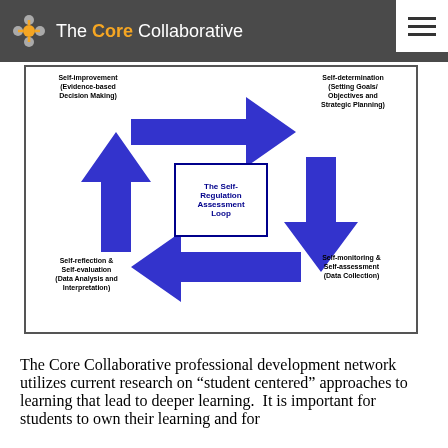[Figure (logo): The Core Collaborative logo with orange and grey icon and white text on dark grey header bar]
[Figure (flowchart): The Self-Regulation Assessment Loop diagram showing a circular cycle with four blue arrows connecting four stages: Self-improvement (Evidence-based Decision Making) at top left, Self-determination (Setting Goals/Objectives and Strategic Planning) at top right, Self-monitoring & Self-assessment (Data Collection) at bottom right, and Self-reflection & Self-evaluation (Data Analysis and Interpretation) at bottom left. Center box reads 'The Self-Regulation Assessment Loop'.]
The Core Collaborative professional development network utilizes current research on “student centered” approaches to learning that lead to deeper learning.  It is important for students to own their learning and for